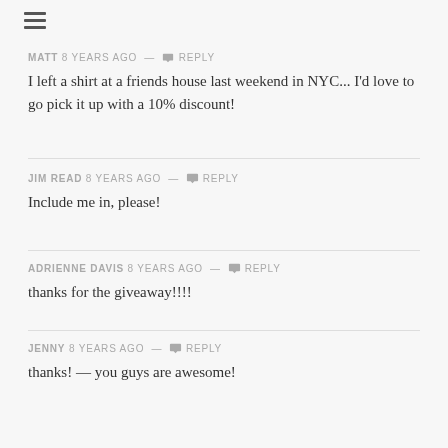≡
MATT 8 years ago — Reply
I left a shirt at a friends house last weekend in NYC... I'd love to go pick it up with a 10% discount!
JIM READ 8 years ago — Reply
Include me in, please!
ADRIENNE DAVIS 8 years ago — Reply
thanks for the giveaway!!!!
JENNY 8 years ago — Reply
thanks! — you guys are awesome!